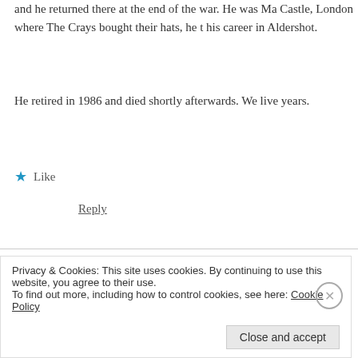and he returned there at the end of the war. He was Ma Castle, London where The Crays bought their hats, he t his career in Aldershot.
He retired in 1986 and died shortly afterwards. We live years.
Like
Reply
Iain Altuccini says:
August 14, 2019 at 12:03 pm
I still lament the passing of Dunn's. Their presence on e bi
Privacy & Cookies: This site uses cookies. By continuing to use this website, you agree to their use.
To find out more, including how to control cookies, see here: Cookie Policy
Close and accept